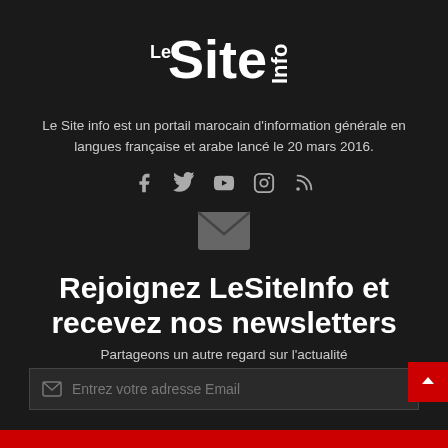[Figure (logo): Le Site Info logo — white stylized text on dark background]
Le Site info est un portail marocain d'information générale en langues française et arabe lancé le 20 mars 2016.
[Figure (infographic): Social media icons: Facebook, Twitter, YouTube, Instagram, RSS feed]
[Figure (infographic): Envelope icon for newsletter]
Rejoignez LeSiteInfo et recevez nos newsletters
Partageons un autre regard sur l'actualité
[Figure (infographic): Email input field with placeholder: Entrez votre adresse Email]